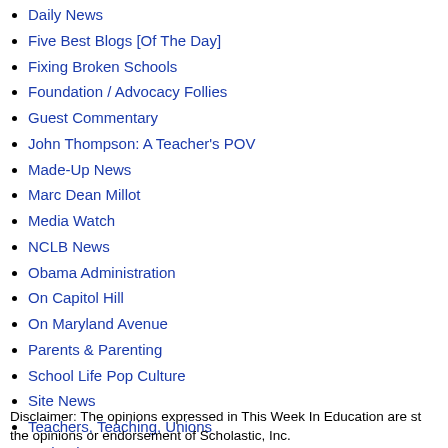Daily News
Five Best Blogs [Of The Day]
Fixing Broken Schools
Foundation / Advocacy Follies
Guest Commentary
John Thompson: A Teacher's POV
Made-Up News
Marc Dean Millot
Media Watch
NCLB News
Obama Administration
On Capitol Hill
On Maryland Avenue
Parents & Parenting
School Life Pop Culture
Site News
Teachers, Teaching, Unions
Technology Is Scary
The Business Of Education
Think Tank Mafia
Urban Ed
Disclaimer: The opinions expressed in This Week In Education are st the opinions or endorsement of Scholastic, Inc.